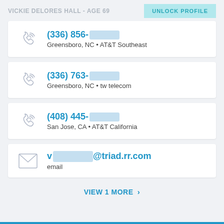VICKIE DELORES HALL - AGE 69  UNLOCK PROFILE
(336) 856- [redacted]
Greensboro, NC • AT&T Southeast
(336) 763- [redacted]
Greensboro, NC • tw telecom
(408) 445- [redacted]
San Jose, CA • AT&T California
v[redacted]@triad.rr.com
email
VIEW 1 MORE >